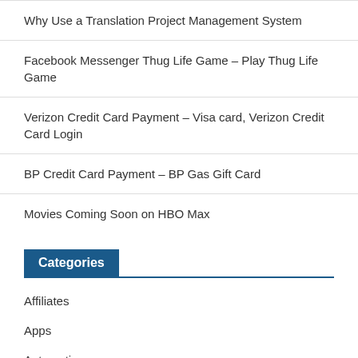Why Use a Translation Project Management System
Facebook Messenger Thug Life Game – Play Thug Life Game
Verizon Credit Card Payment – Visa card, Verizon Credit Card Login
BP Credit Card Payment – BP Gas Gift Card
Movies Coming Soon on HBO Max
Categories
Affiliates
Apps
Automotive
Bank Logins